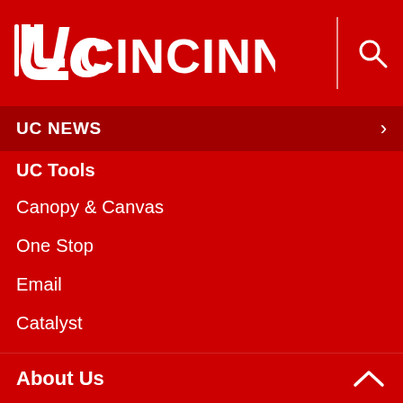[Figure (logo): University of Cincinnati logo with UC mark and CINCINNATI wordmark in white on red background]
UC NEWS
UC Tools
Canopy & Canvas
One Stop
Email
Catalyst
Shuttle Tracker
IT Help
UC VPN
Bearcats Landing
About Us